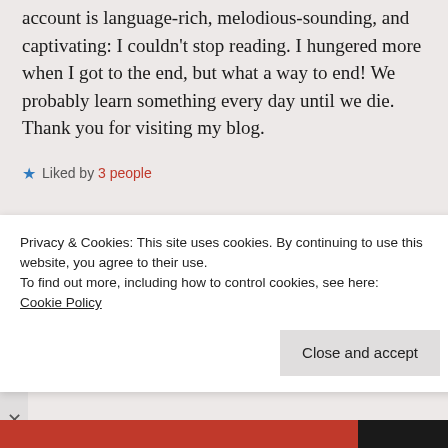account is language-rich, melodious-sounding, and captivating: I couldn't stop reading. I hungered more when I got to the end, but what a way to end! We probably learn something every day until we die. Thank you for visiting my blog.
Liked by 3 people
REPLY
JosieHolford
September 28, 2020 at 4:02 pm
Privacy & Cookies: This site uses cookies. By continuing to use this website, you agree to their use.
To find out more, including how to control cookies, see here:
Cookie Policy
Close and accept